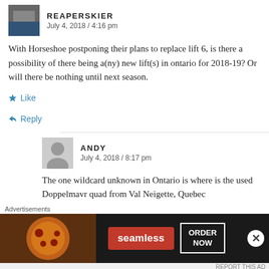REAPERSKIER
July 4, 2018 / 4:16 pm
With Horseshoe postponing their plans to replace lift 6, is there a possibility of there being a(ny) new lift(s) in ontario for 2018-19? Or will there be nothing until next season.
Like
Reply
ANDY
July 4, 2018 / 8:17 pm
The one wildcard unknown in Ontario is where is the used Doppelmavr quad from Val Neigette, Quebec
[Figure (infographic): Seamless food delivery advertisement with pizza image, seamless logo button, and ORDER NOW button on dark background]
Advertisements